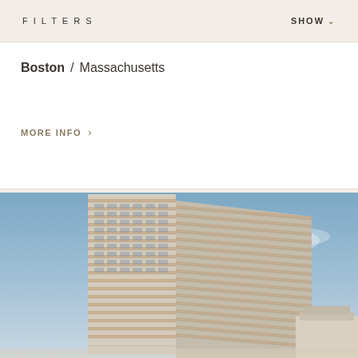FILTERS    SHOW
Boston / Massachusetts
MORE INFO >
[Figure (photo): Exterior rendering of a modern high-rise residential building with horizontal banding and balconies, photographed against a blue sky with light clouds. A classical building is partially visible at the lower right.]